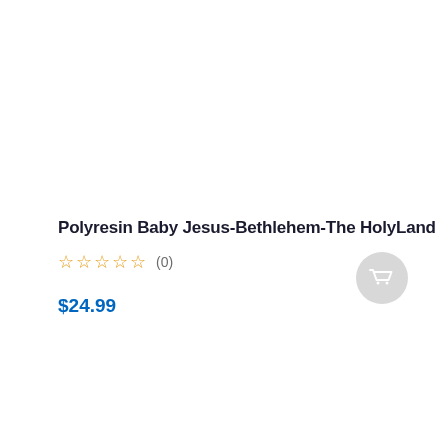Polyresin Baby Jesus-Bethlehem-The HolyLand
☆☆☆☆☆ (0)
$24.99